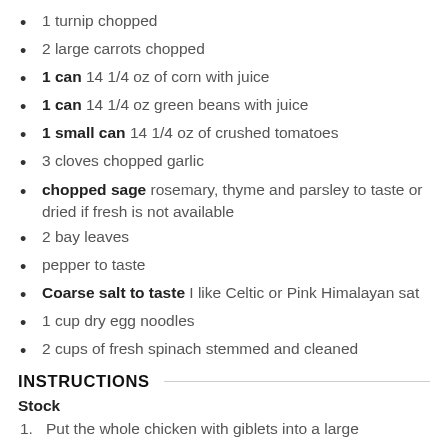1 turnip chopped
2 large carrots chopped
1 can 14 1/4 oz of corn with juice
1 can 14 1/4 oz green beans with juice
1 small can 14 1/4 oz of crushed tomatoes
3 cloves chopped garlic
chopped sage rosemary, thyme and parsley to taste or dried if fresh is not available
2 bay leaves
pepper to taste
Coarse salt to taste I like Celtic or Pink Himalayan sat
1 cup dry egg noodles
2 cups of fresh spinach stemmed and cleaned
INSTRUCTIONS
Stock
Put the whole chicken with giblets into a large